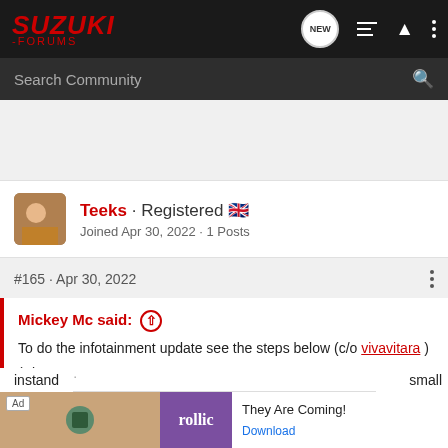SUZUKI -FORUMS
Search Community
Teeks · Registered 🇬🇧
Joined Apr 30, 2022 · 1 Posts
#165 · Apr 30, 2022
Mickey Mc said: ⊕
To do the infotainment update see the steps below (c/o vivavitara )
(Please... small
[Figure (screenshot): Ad banner for 'rollic' game 'They Are Coming!' with Download button]